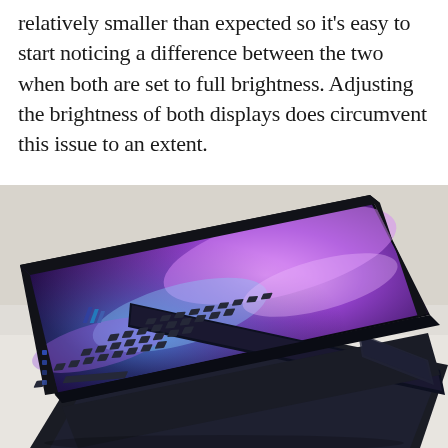relatively smaller than expected so it's easy to start noticing a difference between the two when both are set to full brightness. Adjusting the brightness of both displays does circumvent this issue to an extent.
[Figure (photo): ASUS ZenBook Pro Duo laptop with dual screens - the main display showing a colorful swirling purple and blue wallpaper, and a secondary ScreenPad Plus below. The keyboard is visible in the lower portion. The laptop is photographed at an angle on a light grey surface.]